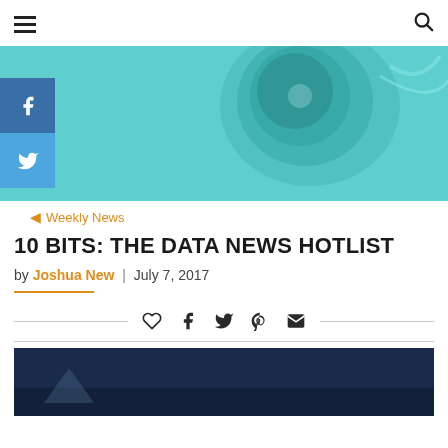Navigation header with hamburger menu and search icon
[Figure (photo): Close-up teal/cyan microscope image of a cell or embryo with a needle/pipette, used as article hero image]
Weekly News
10 BITS: THE DATA NEWS HOTLIST
by Joshua New | July 7, 2017
[Figure (infographic): Social share icons row: heart/like, facebook, twitter, pinterest, email, separated by horizontal rules]
[Figure (photo): Dark blue image at bottom of page, partially visible, appears to be a night-time or dark scene]